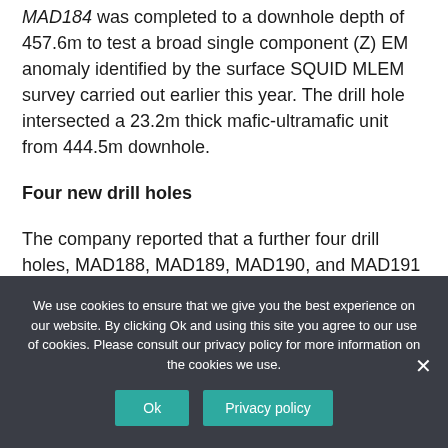MAD184 was completed to a downhole depth of 457.6m to test a broad single component (Z) EM anomaly identified by the surface SQUID MLEM survey carried out earlier this year. The drill hole intersected a 23.2m thick mafic-ultramafic unit from 444.5m downhole.
Four new drill holes
The company reported that a further four drill holes, MAD188, MAD189, MAD190, and MAD191 were completed since 9 September 2020. SGQ said that all the additional drill holes intersected varying thicknesses of
We use cookies to ensure that we give you the best experience on our website. By clicking Ok and using this site you agree to our use of cookies. Please consult our privacy policy for more information on the cookies we use.